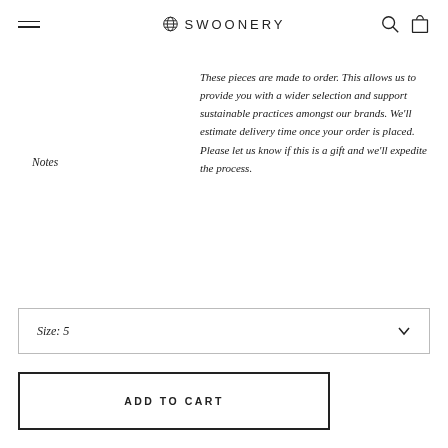SWOONERY
Notes
These pieces are made to order. This allows us to provide you with a wider selection and support sustainable practices amongst our brands. We'll estimate delivery time once your order is placed. Please let us know if this is a gift and we'll expedite the process.
Size: 5
ADD TO CART